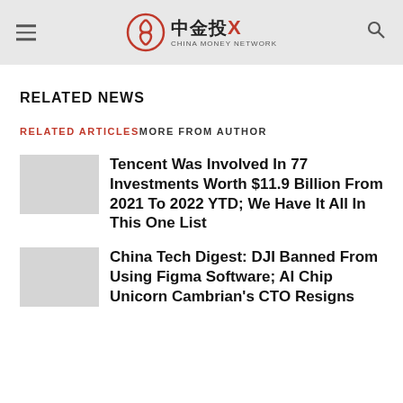中金投X CHINA MONEY NETWORK
RELATED NEWS
RELATED ARTICLES MORE FROM AUTHOR
Tencent Was Involved In 77 Investments Worth $11.9 Billion From 2021 To 2022 YTD; We Have It All In This One List
China Tech Digest: DJI Banned From Using Figma Software; AI Chip Unicorn Cambrian's CTO Resigns